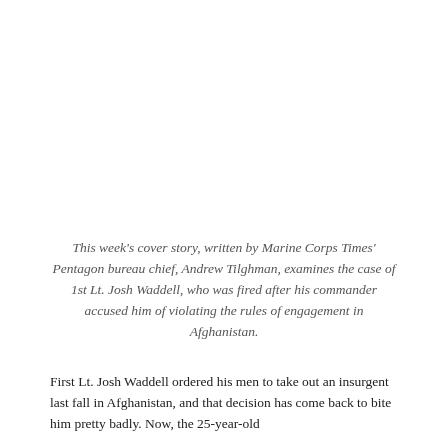This week's cover story, written by Marine Corps Times' Pentagon bureau chief, Andrew Tilghman, examines the case of 1st Lt. Josh Waddell, who was fired after his commander accused him of violating the rules of engagement in Afghanistan.
First Lt. Josh Waddell ordered his men to take out an insurgent last fall in Afghanistan, and that decision has come back to bite him pretty badly. Now, the 25-year-old